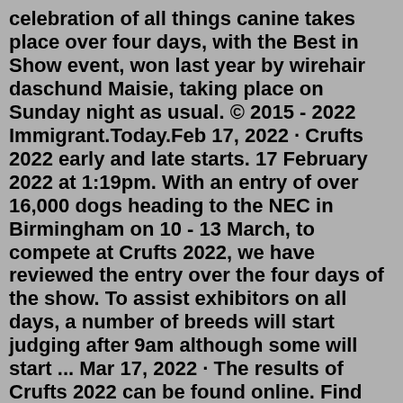celebration of all things canine takes place over four days, with the Best in Show event, won last year by wirehair daschund Maisie, taking place on Sunday night as usual. © 2015 - 2022 Immigrant.Today.Feb 17, 2022 · Crufts 2022 early and late starts. 17 February 2022 at 1:19pm. With an entry of over 16,000 dogs heading to the NEC in Birmingham on 10 - 13 March, to compete at Crufts 2022, we have reviewed the entry over the four days of the show. To assist exhibitors on all days, a number of breeds will start judging after 9am although some will start ... Mar 17, 2022 · The results of Crufts 2022 can be found online. Find free downloadable images from Crufts 2022. The following breeders qualified for the 2022 final at Crufts: Mrs C & Mr D Baldock, Gunnersnewfs Newfoundlands. Ms R Bailey, Akna Canadian Eskimo Dogs. Miss T, Mr A & Mrs L Douglas, Talard Australian Shepherds. Mrs P MacLellan, Debruix Groenendael ... World Population Prospects 2022 is the twenty-seventh edition of the official United Nations population